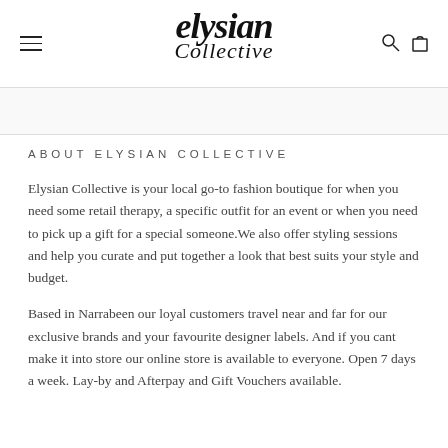elysian Collective
ABOUT ELYSIAN COLLECTIVE
Elysian Collective is your local go-to fashion boutique for when you need some retail therapy, a specific outfit for an event or when you need to pick up a gift for a special someone.We also offer styling sessions and help you curate and put together a look that best suits your style and budget.
Based in Narrabeen our loyal customers travel near and far for our exclusive brands and your favourite designer labels. And if you cant make it into store our online store is available to everyone. Open 7 days a week. Lay-by and Afterpay and Gift Vouchers available.